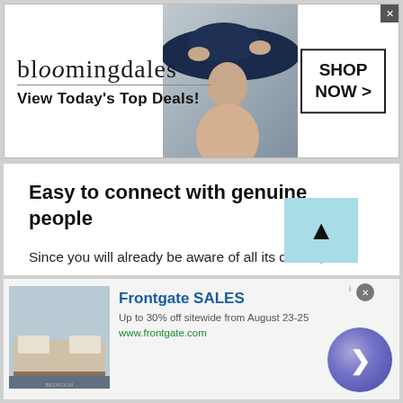[Figure (screenshot): Bloomingdale's advertisement banner at top. Shows bloomingdales logo, text 'View Today's Top Deals!', a fashion model with a wide-brim hat, and a 'SHOP NOW >' button in a box.]
Easy to connect with genuine people
Since you will already be aware of all its details, it will help you to evaluate if the person is guiding you correctly or not. Based on those results you can make a connection with them based on their knowledge. This act will create an attraction towards you. The reason being, it will portray that you are one of those people of the world who a...
[Figure (screenshot): Frontgate SALES advertisement at the bottom. Shows a bedroom image on the left, text 'Frontgate SALES', 'Up to 30% off sitewide from August 23-25', 'www.frontgate.com', and a purple circular next arrow button on the right.]